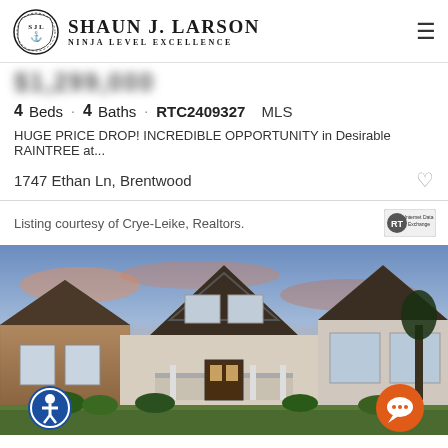[Figure (logo): Shaun J. Larson Ninja Level Excellence real estate logo with circular SJL emblem]
Shaun J. Larson Ninja Level Excellence
4 Beds · 4 Baths · RTC2409327 MLS
HUGE PRICE DROP! INCREDIBLE OPPORTUNITY in Desirable RAINTREE at...
1747 Ethan Ln, Brentwood
Listing courtesy of Crye-Leike, Realtors.
[Figure (photo): Exterior photo of a large two-story craftsman/traditional style home with brick and siding, multiple gabled rooflines, a covered front porch, and a colorful sunset sky in the background]